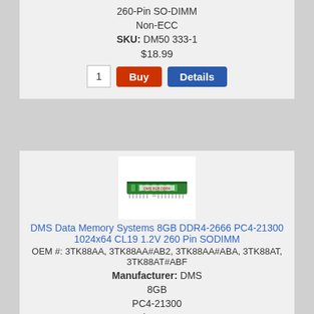260-Pin SO-DIMM
Non-ECC
SKU: DM50 333-1
$18.99
1  Buy  Details
[Figure (photo): RAM module product image for DMS 8GB DDR4-2666 SODIMM]
DMS Data Memory Systems 8GB DDR4-2666 PC4-21300 1024x64 CL19 1.2V 260 Pin SODIMM
OEM #: 3TK88AA, 3TK88AA#AB2, 3TK88AA#ABA, 3TK88AT, 3TK88AT#ABF
Manufacturer: DMS
8GB
PC4-21300
260-Pin SO-DIMM
Non-ECC
SKU: DM50 334-1
$29.99
1  Buy  Details